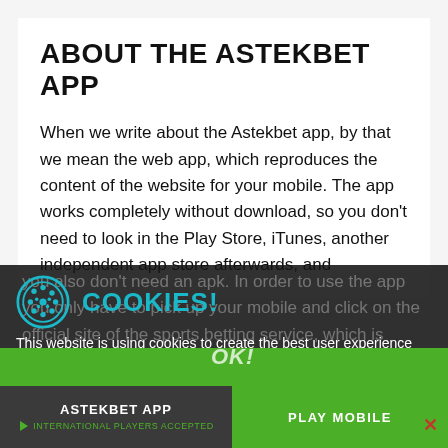ABOUT THE ASTEKBET APP
When we write about the Astekbet app, by that we mean the web app, which reproduces the content of the website for your mobile. The app works completely without download, so you don't need to look in the Play Store, iTunes, another independent app store afterwards, and you also don't need an apk. In order to use the app you only have to pick up your mobile and click on the official site of the sports betting service, which is called Astekbet. The app works exactly the
COOKIES! This website is using cookies to create the best user experience for you. Once you are using our website, you are giving consent to the usage of those cookies.
ASTEKBET APP
PLAY MOBILE
International Players accepted